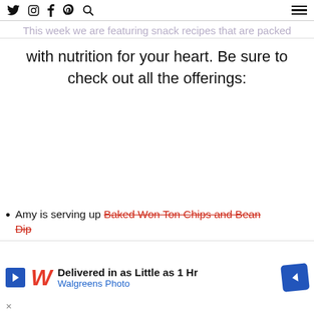February 2017
This week we are featuring snack recipes that are packed with nutrition for your heart. Be sure to check out all the offerings:
Amy is serving up Baked Won Ton Chips and Bean Dip
[Figure (screenshot): Walgreens Photo advertisement banner: 'Delivered in as Little as 1 Hr' with Walgreens Photo logo and blue diamond arrow icon]